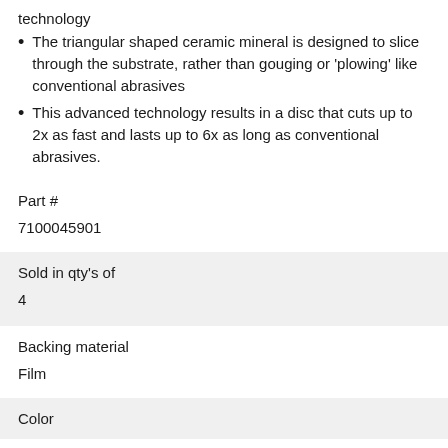technology
The triangular shaped ceramic mineral is designed to slice through the substrate, rather than gouging or 'plowing' like conventional abrasives
This advanced technology results in a disc that cuts up to 2x as fast and lasts up to 6x as long as conventional abrasives.
| Part # | 7100045901 | Sold in qty's of | 4 | Backing material | Film | Color |
| --- | --- | --- | --- | --- | --- | --- |